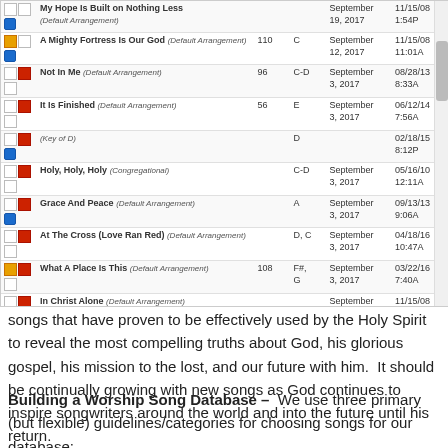[Figure (screenshot): Screenshot of a worship song database/list application showing songs with columns for checkboxes, song title/arrangement, BPM, key, date, and time. Songs listed include: My Hope Is Built on Nothing Less, A Mighty Fortress Is Our God, Not In Me, It Is Finished, (Key of D), Holy Holy Holy, Grace And Peace, At The Cross (Love Ran Red), What A Place Is This, In Christ Alone.]
songs that have proven to be effectively used by the Holy Spirit to reveal the most compelling truths about God, his glorious gospel, his mission to the lost, and our future with him.  It should be continually growing with new songs as God continues to inspire songwriters around the world and into the future until his return.
Building a Worship Song Database –  We use three primary (but flexible) guidelines/categories for choosing songs for our database: